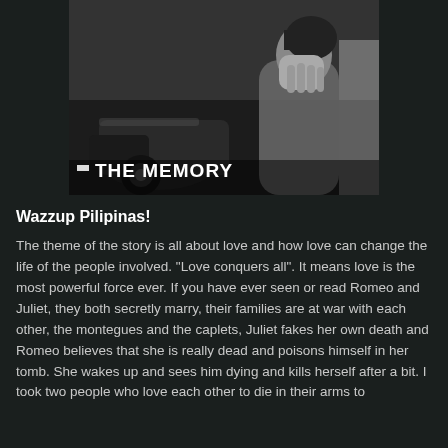[Figure (photo): Black and white photo of a woman covering her face/head with her hands, appearing distressed, with a car visible in the background. Text overlay reads 'THE MEMORY'.]
Wazzup Pilipinas!
The theme of the story is all about love and how love can change the life of the people involved. "Love conquers all". It means love is the most powerful force ever. If you have ever seen or read Romeo and Juliet, they both secretly marry, their families are at war with each other, the montegues and the caplets, Juliet fakes her own death and Romeo believes that she is really dead and poisons himself in her tomb. She wakes up and sees him dying and kills herself after a bit. I took two people who love each other to die in their arms to